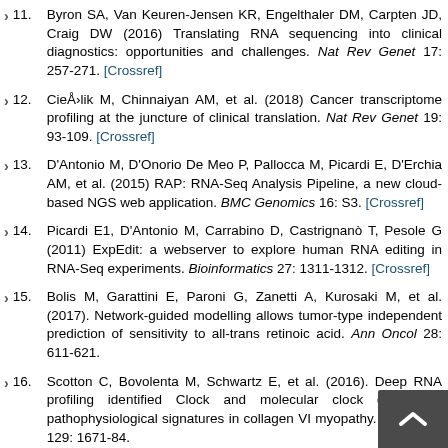11. Byron SA, Van Keuren-Jensen KR, Engelthaler DM, Carpten JD, Craig DW (2016) Translating RNA sequencing into clinical diagnostics: opportunities and challenges. Nat Rev Genet 17: 257-271. [Crossref]
12. CieÅ›lik M, Chinnaiyan AM, et al. (2018) Cancer transcriptome profiling at the juncture of clinical translation. Nat Rev Genet 19: 93-109. [Crossref]
13. D'Antonio M, D'Onorio De Meo P, Pallocca M, Picardi E, D'Erchia AM, et al. (2015) RAP: RNA-Seq Analysis Pipeline, a new cloud-based NGS web application. BMC Genomics 16: S3. [Crossref]
14. Picardi E1, D'Antonio M, Carrabino D, Castrignanò T, Pesole G (2011) ExpEdit: a webserver to explore human RNA editing in RNA-Seq experiments. Bioinformatics 27: 1311-1312. [Crossref]
15. Bolis M, Garattini E, Paroni G, Zanetti A, Kurosaki M, et al. (2017). Network-guided modelling allows tumor-type independent prediction of sensitivity to all-trans retinoic acid. Ann Oncol 28: 611-621.
16. Scotton C, Bovolenta M, Schwartz E, et al. (2016). Deep RNA profiling identified Clock and molecular clock genes as pathophysiological signatures in collagen VI myopathy. J Cell Sci. 129: 1671-84.
17. Silvestri V, Zelli V, Valentini V, et al. (2017) Whole-exome sequencing and targeted gene sequencing provide insights into